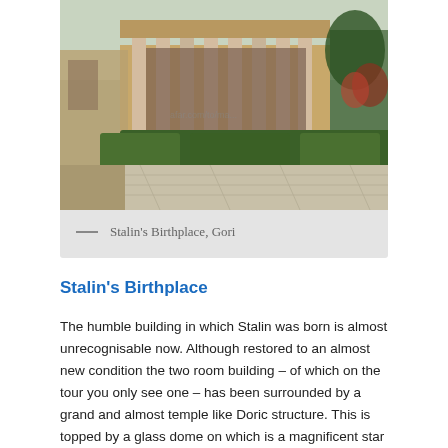[Figure (photo): Exterior photograph of Stalin's Birthplace in Gori — a neoclassical temple-like structure with tall Doric columns, ornamental garden with trimmed hedges, and trees in the background. Stone paved courtyard in the foreground.]
— Stalin's Birthplace, Gori
Stalin's Birthplace
The humble building in which Stalin was born is almost unrecognisable now. Although restored to an almost new condition the two room building – of which on the tour you only see one – has been surrounded by a grand and almost temple like Doric structure. This is topped by a glass dome on which is a magnificent star and in each corner there's a hammer and sickle symbol. This was erected in 1939. This is lit up at night and looks